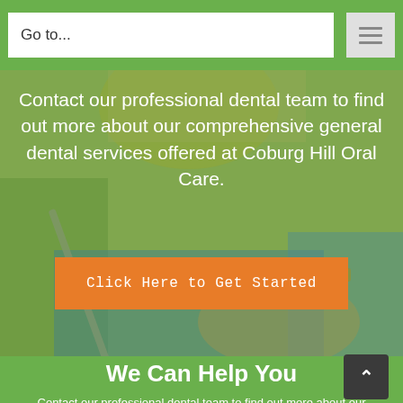[Figure (screenshot): Navigation bar with Go to... input and hamburger menu icon on green background]
[Figure (photo): Dental professional in blue gloves working on a dental procedure, with overlay text and orange CTA button]
Contact our professional dental team to find out more about our comprehensive general dental services offered at Coburg Hill Oral Care.
Click Here to Get Started
We Can Help You
Contact our professional dental team to find out more about our comprehensive general dental services offered at Coburg Hill Oral Care.